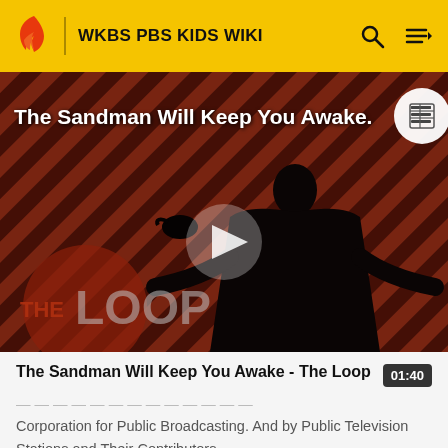WKBS PBS KIDS WIKI
[Figure (screenshot): Video thumbnail for 'The Sandman Will Keep You Awake - The Loop' showing a dark-cloaked figure against a red and black striped diagonal background with 'THE LOOP' logo overlay and a play button in the center]
The Sandman Will Keep You Awake - The Loop  01:40
Corporation for Public Broadcasting. And by Public Television Stations and Their Contributors.
Cool Funnelins (November 22...